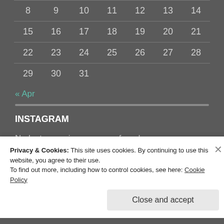| 8 | 9 | 10 | 11 | 12 | 13 | 14 |
| 15 | 16 | 17 | 18 | 19 | 20 | 21 |
| 22 | 23 | 24 | 25 | 26 | 27 | 28 |
| 29 | 30 | 31 |  |  |  |  |
« Apr
INSTAGRAM
No Instagram images were found.
Privacy & Cookies: This site uses cookies. By continuing to use this website, you agree to their use. To find out more, including how to control cookies, see here: Cookie Policy